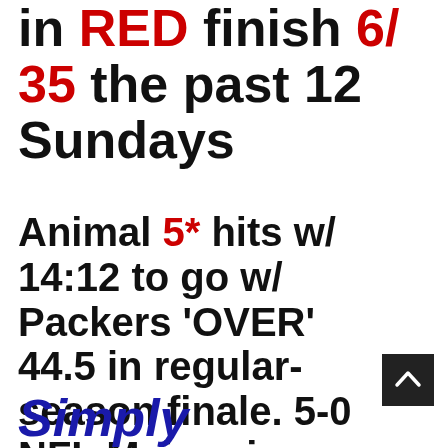in RED finish 6/35 the past 12 Sundays
Animal 5* hits w/ 14:12 to go w/ Packers 'OVER' 44.5 in regular-season finale. 5-0 NFL Majors in 2022
Simply